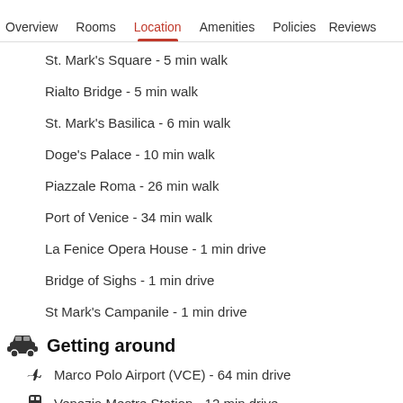Overview  Rooms  Location  Amenities  Policies  Reviews
St. Mark's Square - 5 min walk
Rialto Bridge - 5 min walk
St. Mark's Basilica - 6 min walk
Doge's Palace - 10 min walk
Piazzale Roma - 26 min walk
Port of Venice - 34 min walk
La Fenice Opera House - 1 min drive
Bridge of Sighs - 1 min drive
St Mark's Campanile - 1 min drive
Getting around
Marco Polo Airport (VCE) - 64 min drive
Venezia Mestre Station - 12 min drive
Venice (XVQ-Santa Lucia Rail Station) - 24 min walk
Venice Santa Lucia Station - 25 min walk